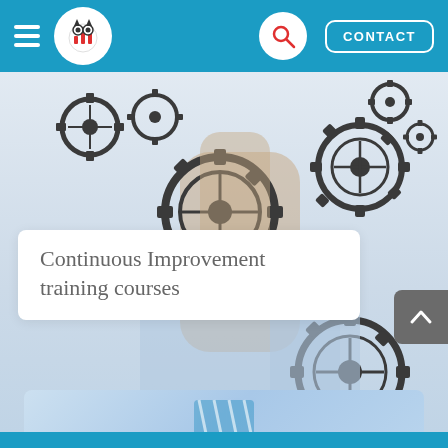Navigation bar with hamburger menu, logo, search button, and CONTACT button
[Figure (photo): Person in blue shirt holding mechanical gears with multiple dark metallic cog/gear wheels floating around, on a light grey/white background]
Continuous Improvement training courses
[Figure (photo): Partial view of a person in a blue striped tie, appearing at the bottom of the page on a light blue background]